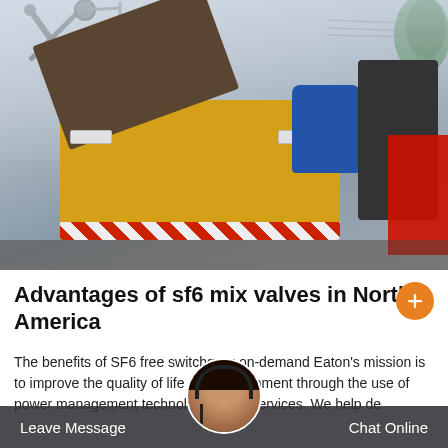[Figure (photo): Industrial equipment - yellow electrical switchgear box with open lid on a vehicle, with blue tank and dark machinery in background]
Advantages of sf6 mix valves in North America
The benefits of SF6 free switchgear on-demand Eaton's mission is to improve the quality of life and environment through the use of power management technologies and services. We help de